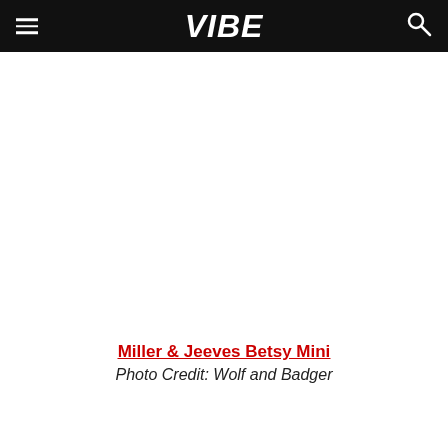VIBE
[Figure (photo): Empty white image area for Miller & Jeeves Betsy Mini product photo]
Miller & Jeeves Betsy Mini
Photo Credit: Wolf and Badger